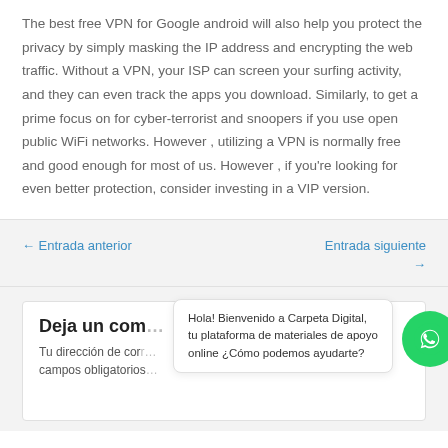The best free VPN for Google android will also help you protect the privacy by simply masking the IP address and encrypting the web traffic. Without a VPN, your ISP can screen your surfing activity, and they can even track the apps you download. Similarly, to get a prime focus on for cyber-terrorist and snoopers if you use open public WiFi networks. However , utilizing a VPN is normally free and good enough for most of us. However , if you're looking for even better protection, consider investing in a VIP version.
← Entrada anterior
Entrada siguiente →
Deja un com…
Tu dirección de cor… campos obligatorios…
Hola! Bienvenido a Carpeta Digital, tu plataforma de materiales de apoyo online ¿Cómo podemos ayudarte?